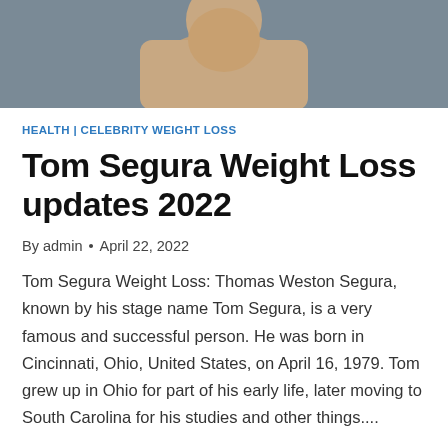[Figure (photo): Shirtless person photographed against a dark background, upper body visible, cropped at the top of the page]
HEALTH | CELEBRITY WEIGHT LOSS
Tom Segura Weight Loss updates 2022
By admin • April 22, 2022
Tom Segura Weight Loss: Thomas Weston Segura, known by his stage name Tom Segura, is a very famous and successful person. He was born in Cincinnati, Ohio, United States, on April 16, 1979. Tom grew up in Ohio for part of his early life, later moving to South Carolina for his studies and other things....